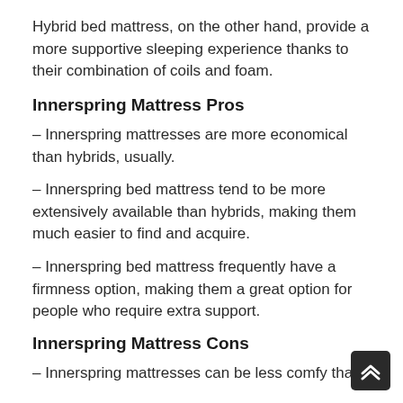Hybrid bed mattress, on the other hand, provide a more supportive sleeping experience thanks to their combination of coils and foam.
Innerspring Mattress Pros
– Innerspring mattresses are more economical than hybrids, usually.
– Innerspring bed mattress tend to be more extensively available than hybrids, making them much easier to find and acquire.
– Innerspring bed mattress frequently have a firmness option, making them a great option for people who require extra support.
Innerspring Mattress Cons
– Innerspring mattresses can be less comfy than